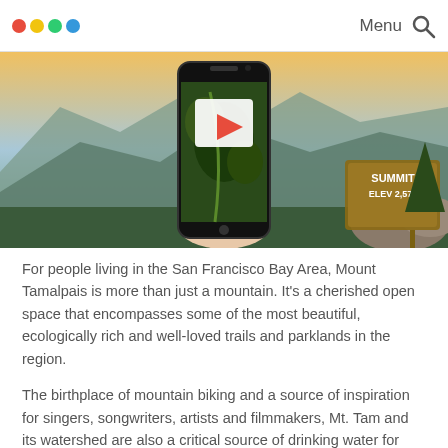Menu 🔍
[Figure (photo): A hand holding a smartphone showing an aerial/mountain view, with a mountain summit sign reading 'SUMMIT ELEV 2,574' visible in the background. A white play button overlay is on the phone screen.]
For people living in the San Francisco Bay Area, Mount Tamalpais is more than just a mountain. It's a cherished open space that encompasses some of the most beautiful, ecologically rich and well-loved trails and parklands in the region.
The birthplace of mountain biking and a source of inspiration for singers, songwriters, artists and filmmakers, Mt. Tam and its watershed are also a critical source of drinking water for 75% of Marin County's population.